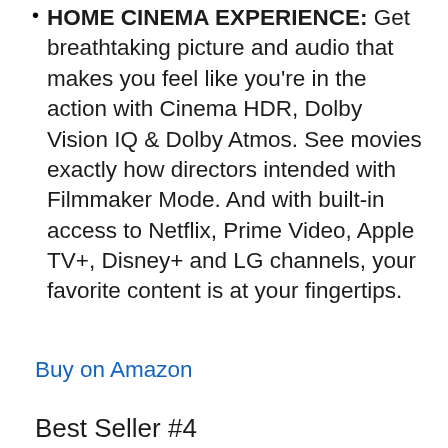HOME CINEMA EXPERIENCE: Get breathtaking picture and audio that makes you feel like you're in the action with Cinema HDR, Dolby Vision IQ & Dolby Atmos. See movies exactly how directors intended with Filmmaker Mode. And with built-in access to Netflix, Prime Video, Apple TV+, Disney+ and LG channels, your favorite content is at your fingertips.
Buy on Amazon
Best Seller #4